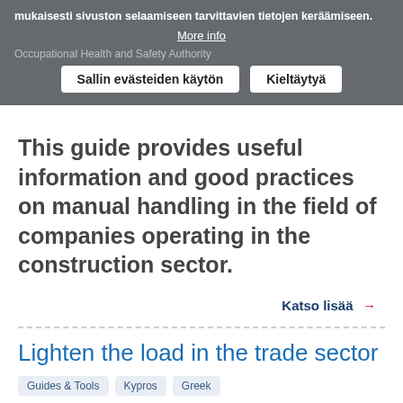mukaisesti sivuston selaamiseen tarvittavien tietojen keräämiseen.
More info
Occupational Health and Safety Authority
Sallin evästeiden käytön
Kieltäytyä
This guide provides useful information and good practices on manual handling in the field of companies operating in the construction sector.
Katso lisää →
Lighten the load in the trade sector
Guides & Tools
Kypros
Greek
Occupational Health and Safety Authority
This guide provides useful information and good practices on manual handling in the field of companies operating in the retail sector.